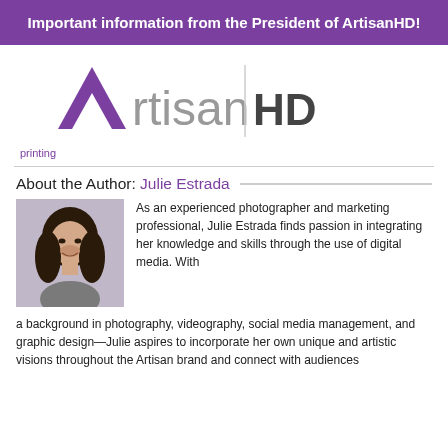Important information from the President of ArtisanHD!
[Figure (logo): ArtisanHD logo with purple triangle/arrow icon and 'Artisan HD' text, with a vertical divider line between 'Artisan' and 'HD']
printing
About the Author: Julie Estrada
[Figure (photo): Headshot of Julie Estrada, a woman with long dark hair, smiling, wearing a gray top]
As an experienced photographer and marketing professional, Julie Estrada finds passion in integrating her knowledge and skills through the use of digital media. With a background in photography, videography, social media management, and graphic design—Julie aspires to incorporate her own unique and artistic visions throughout the Artisan brand and connect with audiences